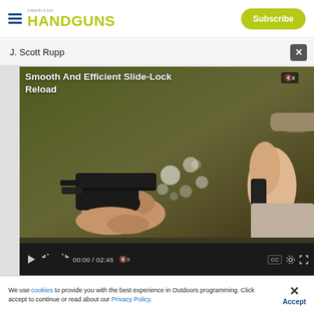HANDGUNS — Subscribe
J. Scott Rupp
[Figure (screenshot): Video player showing 'Smooth And Efficient Slide-Lock Reload' — a person holding a handgun on left, person holding magazine on right. Controls show 00:00 / 02:48.]
We use cookies to provide you with the best experience in Outdoors programming. Click accept to continue or read about our Privacy Policy.